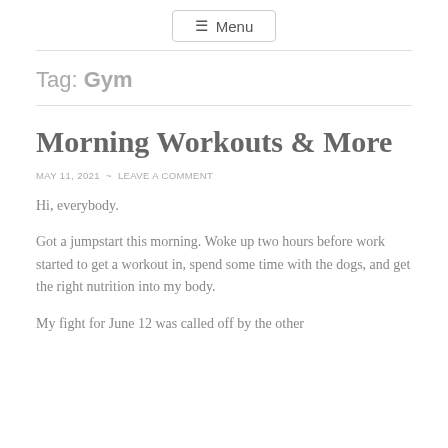☰ Menu
Tag: Gym
Morning Workouts & More
MAY 11, 2021 ~ LEAVE A COMMENT
Hi, everybody.
Got a jumpstart this morning. Woke up two hours before work started to get a workout in, spend some time with the dogs, and get the right nutrition into my body.
My fight for June 12 was called off by the other